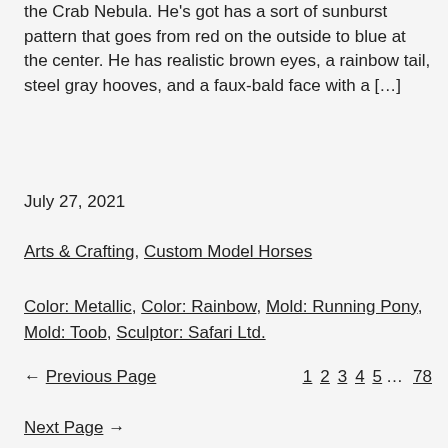the Crab Nebula. He's got has a sort of sunburst pattern that goes from red on the outside to blue at the center. He has realistic brown eyes, a rainbow tail, steel gray hooves, and a faux-bald face with a […]
July 27, 2021
Arts & Crafting, Custom Model Horses
Color: Metallic, Color: Rainbow, Mold: Running Pony, Mold: Toob, Sculptor: Safari Ltd.
← Previous Page    1 2 3 4 5 … 78
Next Page →